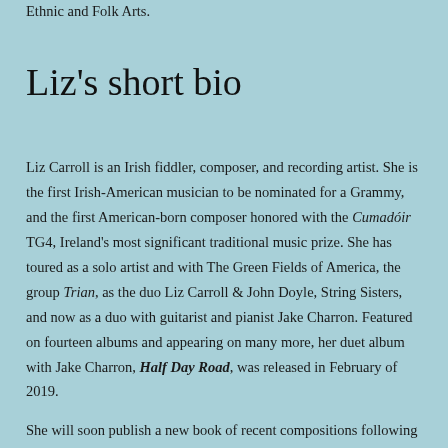Ethnic and Folk Arts.
Liz's short bio
Liz Carroll is an Irish fiddler, composer, and recording artist. She is the first Irish-American musician to be nominated for a Grammy, and the first American-born composer honored with the Cumadóir TG4, Ireland's most significant traditional music prize. She has toured as a solo artist and with The Green Fields of America, the group Trian, as the duo Liz Carroll & John Doyle, String Sisters, and now as a duo with guitarist and pianist Jake Charron. Featured on fourteen albums and appearing on many more, her duet album with Jake Charron, Half Day Road, was released in February of 2019.
She will soon publish a new book of recent compositions following